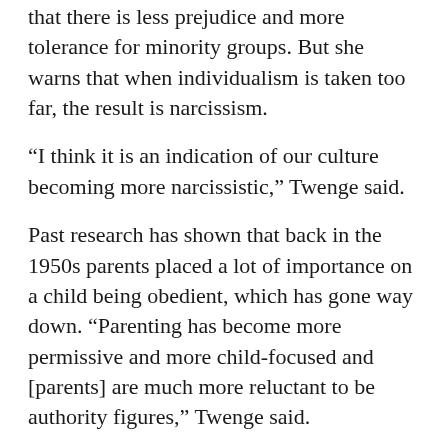that there is less prejudice and more tolerance for minority groups. But she warns that when individualism is taken too far, the result is narcissism.
“I think it is an indication of our culture becoming more narcissistic,” Twenge said.
Past research has shown that back in the 1950s parents placed a lot of importance on a child being obedient, which has gone way down. “Parenting has become more permissive and more child-focused and [parents] are much more reluctant to be authority figures,” Twenge said.
As for whether these unusually named kids will